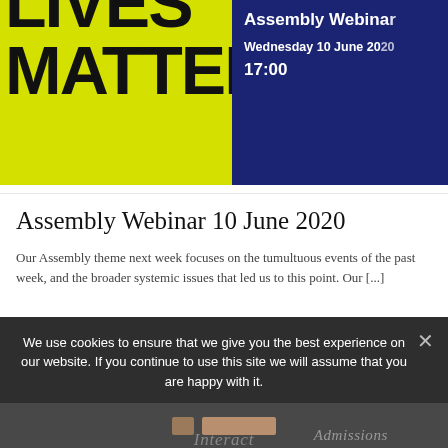[Figure (illustration): Two-part banner: left side has yellow-green background with large bold black text showing 'LIVES MATTER' (partially cropped, showing bottom portion), right side has dark navy blue background with white text 'Assembly Webinar', 'Wednesday 10 June 20[20]', '17:00']
Assembly Webinar 10 June 2020
Our Assembly theme next week focuses on the tumultuous events of the past week, and the broader systemic issues that led us to this point. Our [...]
We use cookies to ensure that we give you the best experience on our website. If you continue to use this site we will assume that you are happy with it.